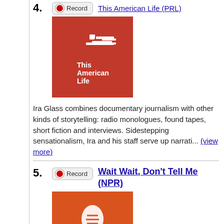4. Record | This American Life (PRL)
[Figure (illustration): Red square logo for 'This American Life' podcast with white text and icon]
Ira Glass combines documentary journalism with other kinds of storytelling: radio monologues, found tapes, short fiction and interviews. Sidestepping sensationalism, Ira and his staff serve up narrati... (view more)
5. Record | Wait Wait, Don't Tell Me (NPR)
[Figure (illustration): Orange-red square logo for 'Wait Wait Don't Tell Me' NPR podcast with white exclamation/microphone icon]
Wait Wait... Don't Tell Me! is NPR's weekly hour-long quiz program. Each week on the radio you can test your knowledge against some of the best and brightest in the news and entertainment world while ... (view more)
6. Record | The Opening Drive (KNML)